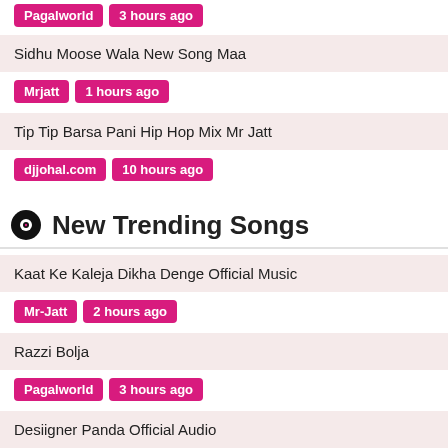Pagalworld · 3 hours ago
Sidhu Moose Wala New Song Maa
Mrjatt · 1 hours ago
Tip Tip Barsa Pani Hip Hop Mix Mr Jatt
djjohal.com · 10 hours ago
New Trending Songs
Kaat Ke Kaleja Dikha Denge Official Music
Mr-Jatt · 2 hours ago
Razzi Bolja
Pagalworld · 3 hours ago
Desiigner Panda Official Audio
Naa Songs · 2 hours ago
Nasha 2 Feat Mr Dhatt